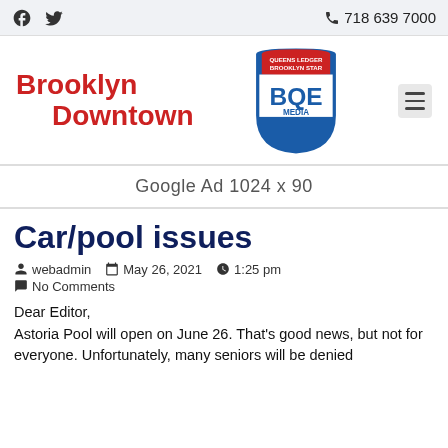Facebook Twitter | 718 639 7000
[Figure (logo): Brooklyn Downtown and BQE Media shield logo with Queens Ledger Brooklyn Star text]
Google Ad  1024 x 90
Car/pool issues
webadmin  May 26, 2021  1:25 pm  No Comments
Dear Editor,
Astoria Pool will open on June 26. That's good news, but not for everyone. Unfortunately, many seniors will be denied